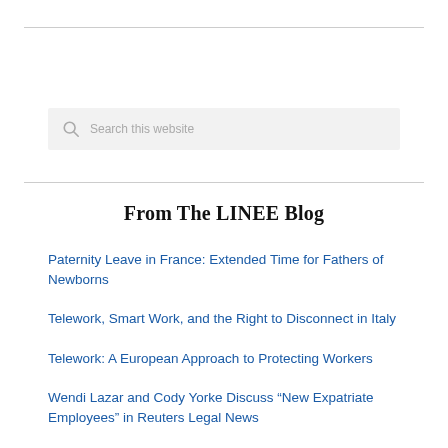[Figure (other): Search box with magnifying glass icon and placeholder text 'Search this website']
From The LINEE Blog
Paternity Leave in France: Extended Time for Fathers of Newborns
Telework, Smart Work, and the Right to Disconnect in Italy
Telework: A European Approach to Protecting Workers
Wendi Lazar and Cody Yorke Discuss “New Expatriate Employees” in Reuters Legal News